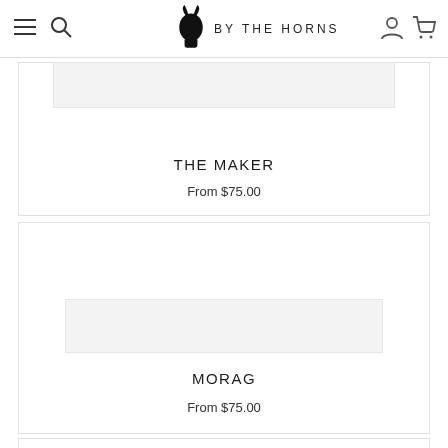BY THE HORNS — Navigation bar with hamburger menu, search, logo, account, and cart icons
THE MAKER
From $75.00
MORAG
From $75.00